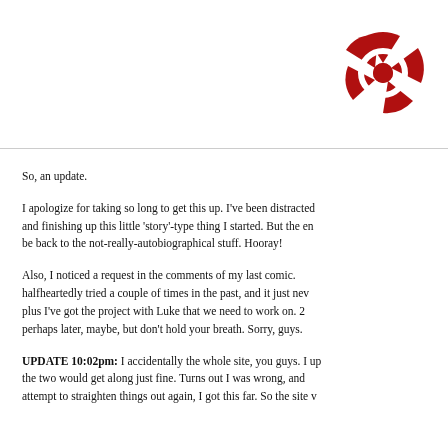[Figure (logo): Red geometric logo resembling a segmented circle/shield shape made of triangular pieces around a central circle, in dark red/crimson color]
So, an update.
I apologize for taking so long to get this up. I've been distracted and finishing up this little 'story'-type thing I started. But the en be back to the not-really-autobiographical stuff. Hooray!
Also, I noticed a request in the comments of my last comic. halfheartedly tried a couple of times in the past, and it just nev plus I've got the project with Luke that we need to work on. 2 perhaps later, maybe, but don't hold your breath. Sorry, guys.
UPDATE 10:02pm: I accidentally the whole site, you guys. I up the two would get along just fine. Turns out I was wrong, and attempt to straighten things out again, I got this far. So the site v